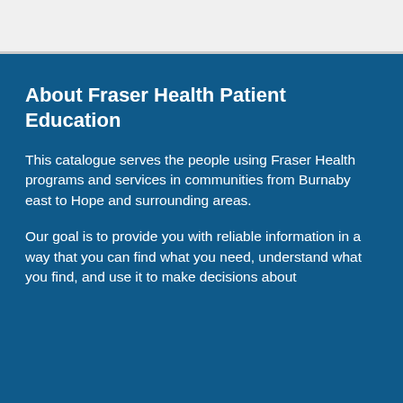About Fraser Health Patient Education
This catalogue serves the people using Fraser Health programs and services in communities from Burnaby east to Hope and surrounding areas.
Our goal is to provide you with reliable information in a way that you can find what you need, understand what you find, and use it to make decisions about